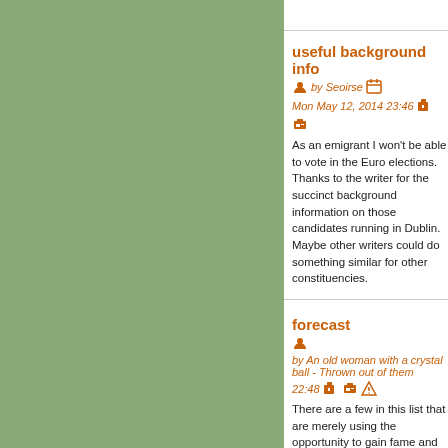useful background info
by Seoirse  Mon May 12, 2014 23:46
As an emigrant I won't be able to vote in the Euro elections. Thanks to the writer for the succinct background information on those candidates running in Dublin. Maybe other writers could do something similar for other constituencies.
forecast
by An old woman with a crystal ball - Thrown out of them  22:48
- Eamon Ryan of the Green Party
- Mary Fitzpatrick of FF
Eamon Ryan hasn't a snowflake's hope in hell of getting elected and he knows it. He has the dosh to spurge on a Euro election campaign, media time, people chatting about the election and so on. He hopes to contest his old Dail constituency of Dublin South next time and this makes him known around the city.
What a better way to remind people of a Green party than to link it to FF, the IMF, selling out on Shannon Warport and Rossp... to link the Green Party in the minds of the plebes with the bad old days. Ah the glory days, Patricia McKenna, political principles...